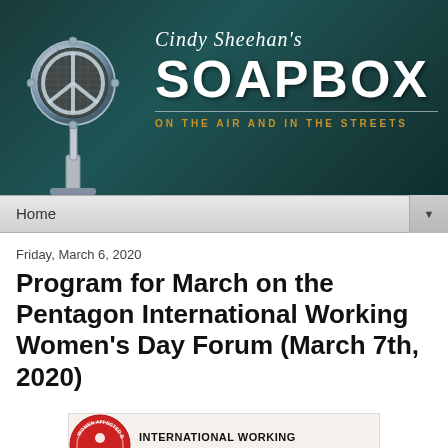[Figure (logo): Cindy Sheehan's Soapbox banner with a vintage chrome microphone shaped as a peace symbol on dark teal background, text reads 'Cindy Sheehan's SOAPBOX ON THE AIR AND IN THE STREETS']
Home ▼
Friday, March 6, 2020
Program for March on the Pentagon International Working Women's Day Forum (March 7th, 2020)
[Figure (illustration): International Working Women's Day Forum event graphic with red circle logo and text 'INTERNATIONAL WORKING WOMEN'S DAY FORUM']